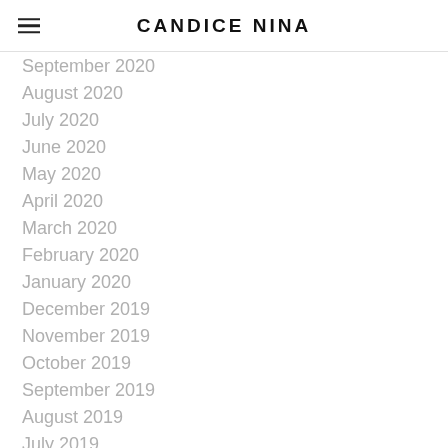CANDICE NINA
September 2020
August 2020
July 2020
June 2020
May 2020
April 2020
March 2020
February 2020
January 2020
December 2019
November 2019
October 2019
September 2019
August 2019
July 2019
June 2019
May 2019
April 2019